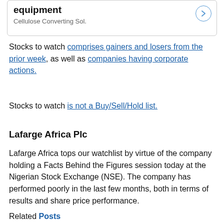[Figure (other): Card widget showing 'equipment' title and 'Cellulose Converting Sol.' subtitle with a circular arrow button]
Stocks to watch comprises gainers and losers from the prior week, as well as companies having corporate actions.
Stocks to watch is not a Buy/Sell/Hold list.
Lafarge Africa Plc
Lafarge Africa tops our watchlist by virtue of the company holding a Facts Behind the Figures session today at the Nigerian Stock Exchange (NSE). The company has performed poorly in the last few months, both in terms of results and share price performance.
Related Posts